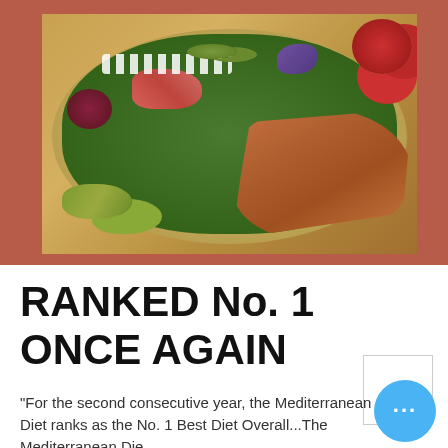[Figure (photo): A Mediterranean salad plate with grilled chicken slices, feta cheese, tomatoes, olives, greens, beets, and pickles on a yellow plate, with red tomatoes visible in the background on a red surface.]
RANKED No. 1 ONCE AGAIN
"For the second consecutive year, the Mediterranean Diet ranks as the No. 1 Best Diet Overall...The Mediterranean Die...